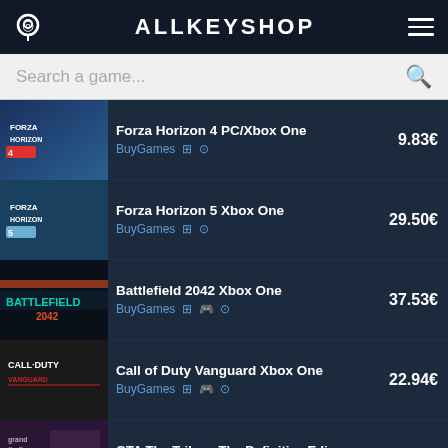ALLKEYSHOP
Search a game...
Forza Horizon 4 PC/Xbox One | BuyGames | 9.83€
Forza Horizon 5 Xbox One | BuyGames | 29.50€
Battlefield 2042 Xbox One | BuyGames | 37.53€
Call of Duty Vanguard Xbox One | BuyGames | 22.94€
GTA The Trilogy The Definitive Edi... | BuyGames | 19.62€
Xbox Game Pass Console | Kinguin | 1.05€
Xbox Live Gold | Kinguin | 0.89€
Xbox Gift Card | Eneba | 1.13€